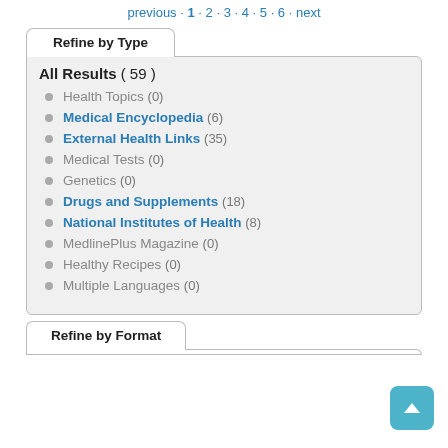previous · 1 · 2 · 3 · 4 · 5 · 6 · next
Refine by Type
All Results ( 59 )
Health Topics (0)
Medical Encyclopedia (6)
External Health Links (35)
Medical Tests (0)
Genetics (0)
Drugs and Supplements (18)
National Institutes of Health (8)
MedlinePlus Magazine (0)
Healthy Recipes (0)
Multiple Languages (0)
Refine by Format